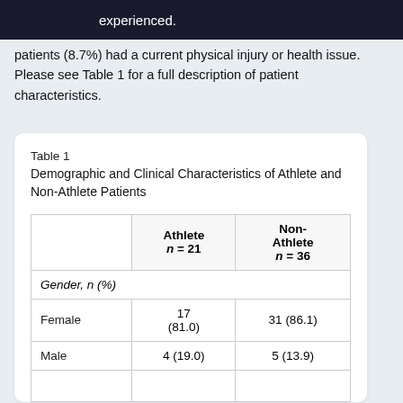experienced.
patients (8.7%) had a current physical injury or health issue. Please see Table 1 for a full description of patient characteristics.
Table 1
Demographic and Clinical Characteristics of Athlete and Non-Athlete Patients
|  | Athlete n=21 | Non-Athlete n=36 |
| --- | --- | --- |
| Gender, n (%) |  |  |
| Female | 17 (81.0) | 31 (86.1) |
| Male | 4 (19.0) | 5 (13.9) |